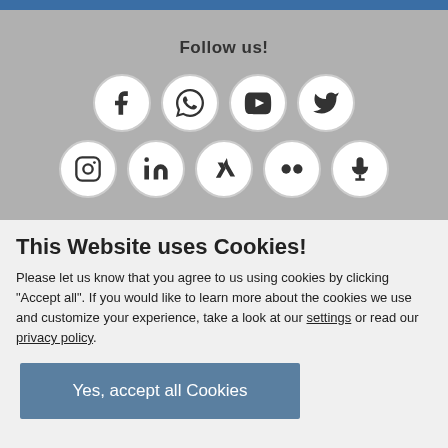[Figure (infographic): Social media follow section with gray background showing 'Follow us!' heading and 9 social media icon circles: Facebook, WhatsApp, YouTube, Twitter, Instagram, LinkedIn, Xing, Flickr, Podcast/microphone]
This Website uses Cookies!
Please let us know that you agree to us using cookies by clicking "Accept all". If you would like to learn more about the cookies we use and customize your experience, take a look at our settings or read our privacy policy.
Yes, accept all Cookies